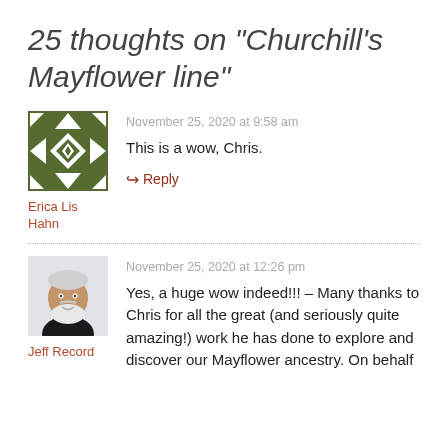25 thoughts on “Churchill’s Mayflower line”
November 25, 2020 at 9:58 am
This is a wow, Chris.
Erica Lis Hahn
Reply
November 25, 2020 at 12:26 pm
Yes, a huge wow indeed!!! – Many thanks to Chris for all the great (and seriously quite amazing!) work he has done to explore and discover our Mayflower ancestry. On behalf
Jeff Record